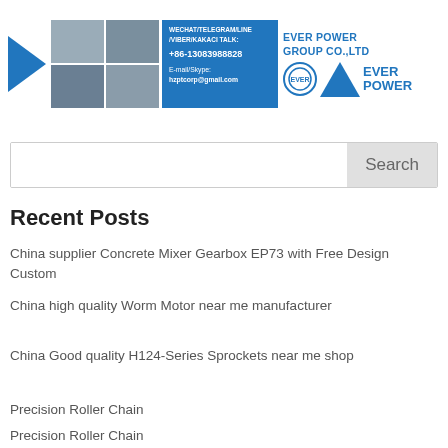[Figure (infographic): Company banner with factory images grid, blue play arrow, blue contact box with WeChat/Telegram/Line/Viber/KakaoTalk info, phone +86-13083988828, email hzptcorp@gmail.com, and Ever Power Group Co.,Ltd logo with circle emblem and blue triangle]
Search
Recent Posts
China supplier Concrete Mixer Gearbox EP73 with Free Design Custom
China high quality Worm Motor near me manufacturer
China Good quality H124-Series Sprockets near me shop
Precision Roller Chain
Precision Roller Chain